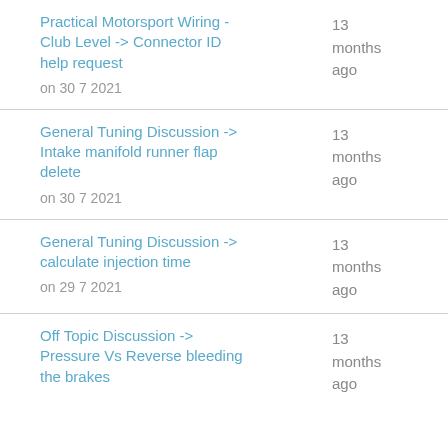Practical Motorsport Wiring - Club Level -> Connector ID help request
on 30 7 2021
13 months ago
General Tuning Discussion -> Intake manifold runner flap delete
on 30 7 2021
13 months ago
General Tuning Discussion -> calculate injection time
on 29 7 2021
13 months ago
Off Topic Discussion -> Pressure Vs Reverse bleeding the brakes
on 27 7 2021
13 months ago